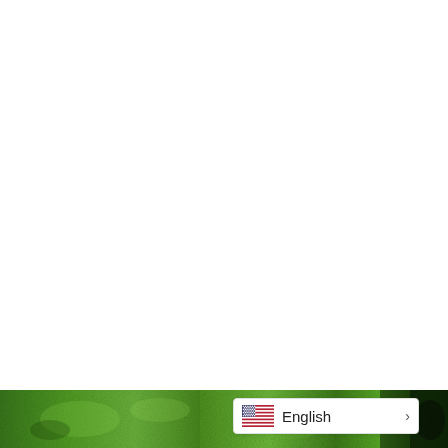[Figure (photo): Green textured surface photo strip along the bottom of the page, showing a close-up of green foliage or grass texture with dark elements.]
English